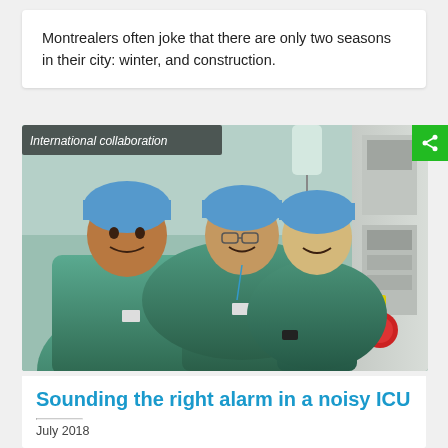Montrealers often joke that there are only two seasons in their city: winter, and construction.
[Figure (photo): Three medical professionals in green scrubs and blue surgical caps standing in an ICU or operating room, surrounded by medical equipment. Overlaid text reads 'International collaboration'.]
Sounding the right alarm in a noisy ICU
July 2018